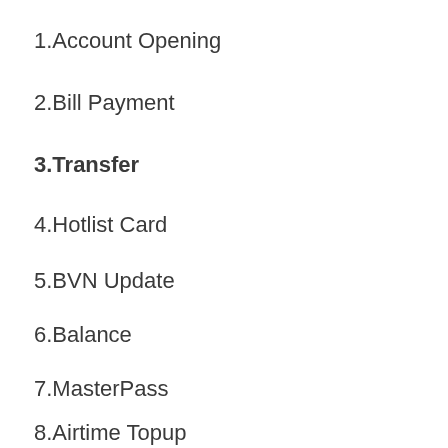1.Account Opening
2.Bill Payment
3.Transfer
4.Hotlist Card
5.BVN Update
6.Balance
7.MasterPass
8.Airtime Topup
9.*Next